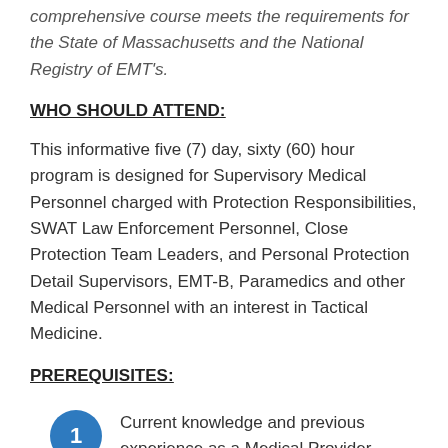comprehensive course meets the requirements for the State of Massachusetts and the National Registry of EMT's.
WHO SHOULD ATTEND:
This informative five (7) day, sixty (60) hour program is designed for Supervisory Medical Personnel charged with Protection Responsibilities, SWAT Law Enforcement Personnel, Close Protection Team Leaders, and Personal Protection Detail Supervisors, EMT-B, Paramedics and other Medical Personnel with an interest in Tactical Medicine.
PREREQUISITES:
Current knowledge and previous experience as a Medical Provider.